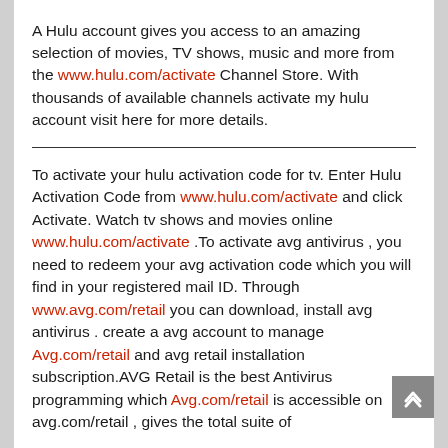A Hulu account gives you access to an amazing selection of movies, TV shows, music and more from the www.hulu.com/activate Channel Store. With thousands of available channels activate my hulu account visit here for more details.
To activate your hulu activation code for tv. Enter Hulu Activation Code from www.hulu.com/activate and click Activate. Watch tv shows and movies online www.hulu.com/activate .To activate avg antivirus , you need to redeem your avg activation code which you will find in your registered mail ID. Through www.avg.com/retail you can download, install avg antivirus . create a avg account to manage Avg.com/retail and avg retail installation subscription.AVG Retail is the best Antivirus programming which Avg.com/retail is accessible on avg.com/retail , gives the total suite of